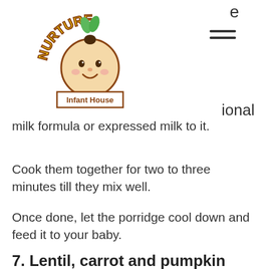Nurture Infant House [logo]
ional milk formula or expressed milk to it.
Cook them together for two to three minutes till they mix well.
Once done, let the porridge cool down and feed it to your baby.
7. Lentil, carrot and pumpkin mash
[Figure (photo): Close-up photo of orange-colored lentil carrot pumpkin mash or soup in a white bowl]